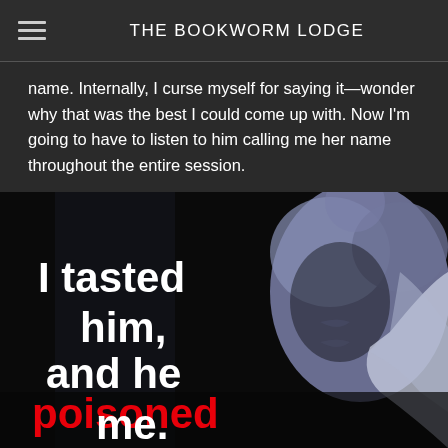THE BOOKWORM LODGE
name. Internally, I curse myself for saying it—wonder why that was the best I could come up with. Now I'm going to have to listen to him calling me her name throughout the entire session.
[Figure (illustration): Book cover image showing a shirtless male torso in blue-grey tones with overlaid text: 'I tasted him, and he poisoned me.' in white and red bold text on dark background.]